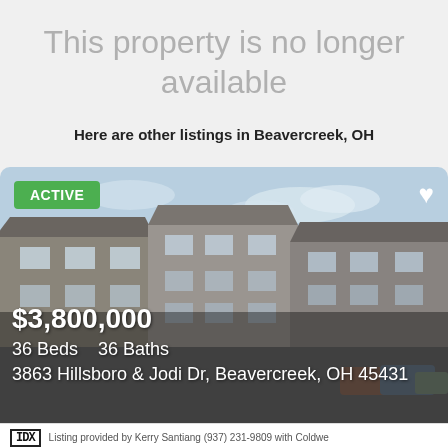This property is no longer available
Here are other listings in Beavercreek, OH
[Figure (photo): Exterior photo of multi-unit apartment complex at 3863 Hillsboro & Jodi Dr, Beavercreek, OH 45431. Several connected 2-3 story brick and siding buildings with a parking lot visible. An ACTIVE badge is shown in the top-left corner and a heart icon in the top-right.]
$3,800,000
36 Beds    36 Baths
3863 Hillsboro & Jodi Dr, Beavercreek, OH 45431
Listing provided by Kerry Santiang (937) 231-9809 with Coldwe